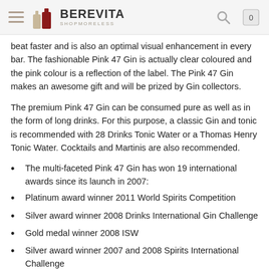BEREVITA SHOPMORELESS
beat faster and is also an optimal visual enhancement in every bar. The fashionable Pink 47 Gin is actually clear coloured and the pink colour is a reflection of the label. The Pink 47 Gin makes an awesome gift and will be prized by Gin collectors.
The premium Pink 47 Gin can be consumed pure as well as in the form of long drinks. For this purpose, a classic Gin and tonic is recommended with 28 Drinks Tonic Water or a Thomas Henry Tonic Water. Cocktails and Martinis are also recommended.
The multi-faceted Pink 47 Gin has won 19 international awards since its launch in 2007:
Platinum award winner 2011 World Spirits Competition
Silver award winner 2008 Drinks International Gin Challenge
Gold medal winner 2008 ISW
Silver award winner 2007 and 2008 Spirits International Challenge
Trophy winner 2008 Mondus Vini's German Aromatic Spirit of the Year